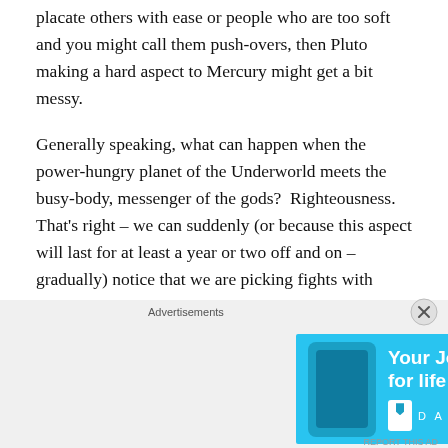placate others with ease or people who are too soft and you might call them push-overs, then Pluto making a hard aspect to Mercury might get a bit messy.
Generally speaking, what can happen when the power-hungry planet of the Underworld meets the busy-body, messenger of the gods?  Righteousness.  That's right – we can suddenly (or because this aspect will last for at least a year or two off and on – gradually) notice that we are picking fights with people because we feel we are right.  Although, Pluto is a very insidious energy – we will rarely ever notice our own righteousness.  Unless we have a habit of reflecting on our words and comments and actions and unless we are open to the truth of a situation,
[Figure (other): Advertisement banner: 'Your Journal for life' Day One app ad with cyan background, phone graphic, and bookmark icon. Close (X) button in corner.]